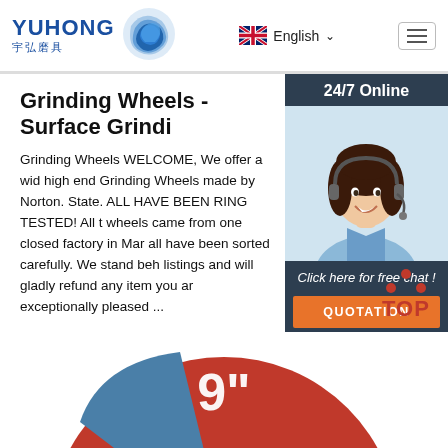YUHONG 宇弘磨具 — English (navigation header)
Grinding Wheels - Surface Grindi
Grinding Wheels WELCOME, We offer a wid high end Grinding Wheels made by Norton. State. ALL HAVE BEEN RING TESTED! All t wheels came from one closed factory in Mar all have been sorted carefully. We stand beh listings and will gladly refund any item you ar exceptionally pleased ...
Get Price
[Figure (photo): Chat widget with '24/7 Online' heading, photo of female agent with headset, 'Click here for free chat!' text, and QUOTATION button]
[Figure (photo): Bottom portion of a grinding wheel showing red and blue sections with '9"' text, and a TOP button in lower right]